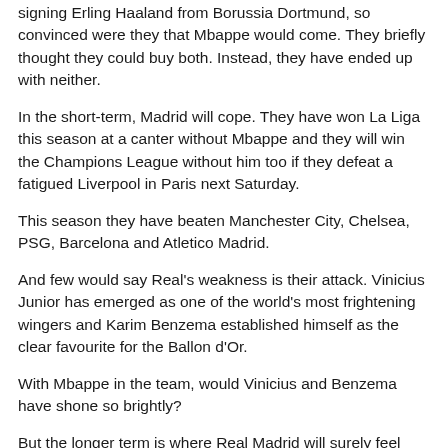signing Erling Haaland from Borussia Dortmund, so convinced were they that Mbappe would come. They briefly thought they could buy both. Instead, they have ended up with neither.
In the short-term, Madrid will cope. They have won La Liga this season at a canter without Mbappe and they will win the Champions League without him too if they defeat a fatigued Liverpool in Paris next Saturday.
This season they have beaten Manchester City, Chelsea, PSG, Barcelona and Atletico Madrid.
And few would say Real's weakness is their attack. Vinicius Junior has emerged as one of the world's most frightening wingers and Karim Benzema established himself as the clear favourite for the Ballon d'Or.
With Mbappe in the team, would Vinicius and Benzema have shone so brightly?
But the longer term is where Real Madrid will surely feel